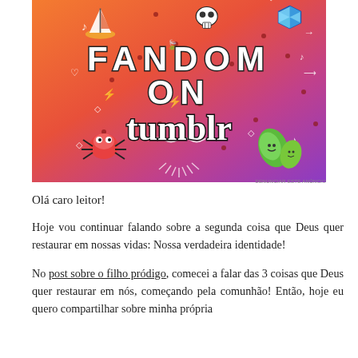[Figure (illustration): Colorful banner image with orange-to-purple gradient background, doodle illustrations (sailboat, skull, spider, leaves, musical notes, hearts, diamonds, arrows), and text reading 'FANDOM ON tumblr' in bold white/black letters. Small text at bottom right: 'DENUNCIAR ESTE ANÚNCIO'.]
Olá caro leitor!
Hoje vou continuar falando sobre a segunda coisa que Deus quer restaurar em nossas vidas: Nossa verdadeira identidade!
No post sobre o filho pródigo, comecei a falar das 3 coisas que Deus quer restaurar em nós, começando pela comunhão! Então, hoje eu quero compartilhar sobre minha própria